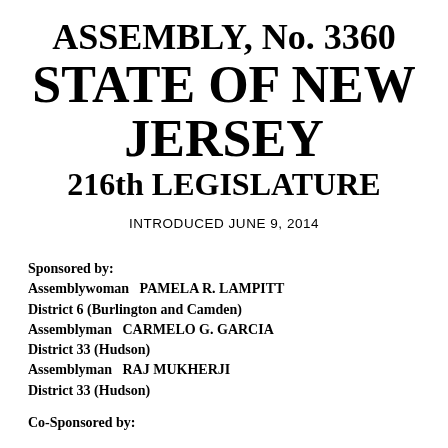ASSEMBLY, No. 3360 STATE OF NEW JERSEY 216th LEGISLATURE
INTRODUCED JUNE 9, 2014
Sponsored by:
Assemblywoman  PAMELA R. LAMPITT
District 6 (Burlington and Camden)
Assemblyman  CARMELO G. GARCIA
District 33 (Hudson)
Assemblyman  RAJ MUKHERJI
District 33 (Hudson)
Co-Sponsored by: